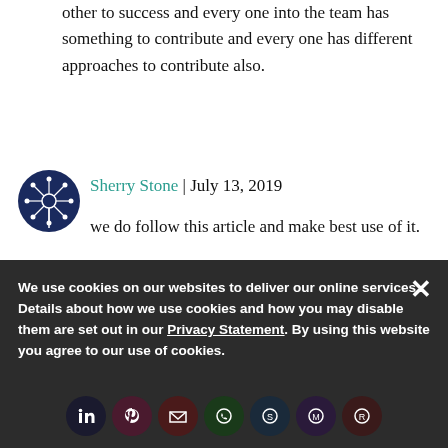other to success and every one into the team has something to contribute and every one has different approaches to contribute also.
Sherry Stone | July 13, 2019
we do follow this article and make best use of it.
Related Content
We use cookies on our websites to deliver our online services. Details about how we use cookies and how you may disable them are set out in our Privacy Statement. By using this website you agree to our use of cookies.